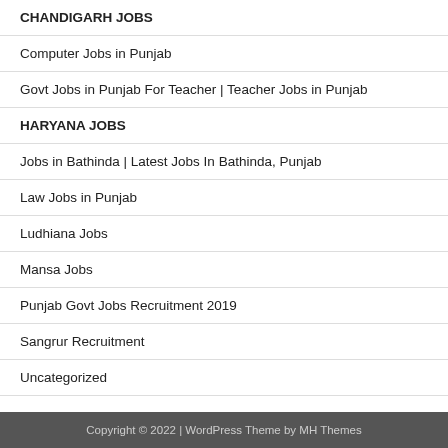CHANDIGARH JOBS
Computer Jobs in Punjab
Govt Jobs in Punjab For Teacher | Teacher Jobs in Punjab
HARYANA JOBS
Jobs in Bathinda | Latest Jobs In Bathinda, Punjab
Law Jobs in Punjab
Ludhiana Jobs
Mansa Jobs
Punjab Govt Jobs Recruitment 2019
Sangrur Recruitment
Uncategorized
Copyright © 2022 | WordPress Theme by MH Themes